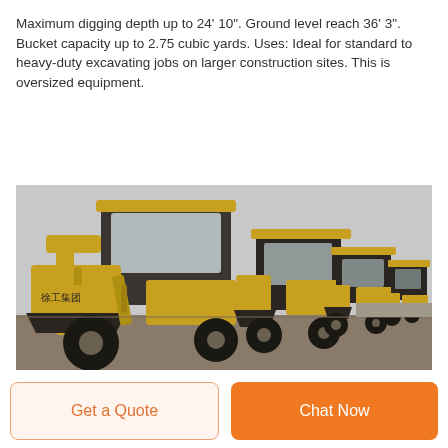Maximum digging depth up to 24' 10". Ground level reach 36' 3". Bucket capacity up to 2.75 cubic yards. Uses: Ideal for standard to heavy-duty excavating jobs on larger construction sites. This is oversized equipment.
[Figure (photo): Row of yellow wheel loaders (construction machinery) parked on a flat surface, viewed from the front-left angle. Chinese characters visible on the nearest machine. Overcast sky in background.]
Get a Quote
Chat Now